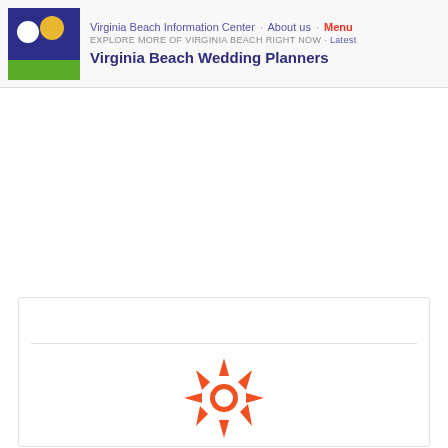Virginia Beach Information Center · About us · Menu
EXPLORE MORE OF VIRGINIA BEACH RIGHT NOW · Latest
Virginia Beach Wedding Planners
[Figure (logo): Virginia Beach Information Center logo: dark blue square background with white circle (moon) and yellow circle (sun), green rectangle at bottom representing grass/beach]
[Figure (logo): Orange sun/asterisk icon with 8 pointed rays and circular center, loading spinner style, displayed inside a white card with a horizontal dividing line near the top]